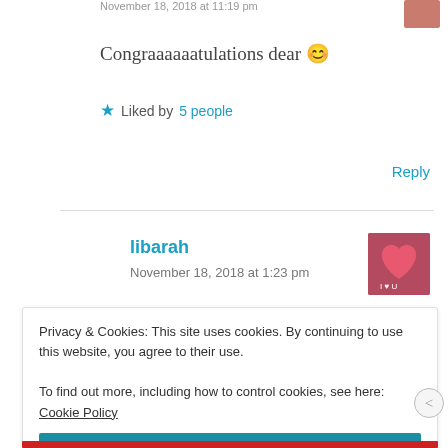November 18, 2018 at 11:19 pm
Congraaaaaatulations dear 😊
★ Liked by 5 people
Reply
libarah
November 18, 2018 at 1:23 pm
Privacy & Cookies: This site uses cookies. By continuing to use this website, you agree to their use.
To find out more, including how to control cookies, see here: Cookie Policy
Close and accept